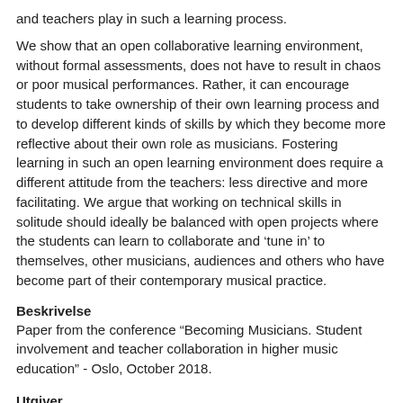and teachers play in such a learning process.
We show that an open collaborative learning environment, without formal assessments, does not have to result in chaos or poor musical performances. Rather, it can encourage students to take ownership of their own learning process and to develop different kinds of skills by which they become more reflective about their own role as musicians. Fostering learning in such an open learning environment does require a different attitude from the teachers: less directive and more facilitating. We argue that working on technical skills in solitude should ideally be balanced with open projects where the students can learn to collaborate and ‘tune in’ to themselves, other musicians, audiences and others who have become part of their contemporary musical practice.
Beskrivelse
Paper from the conference "Becoming Musicians. Student involvement and teacher collaboration in higher music education" - Oslo, October 2018.
Utgiver
Norges musikkhøgskole